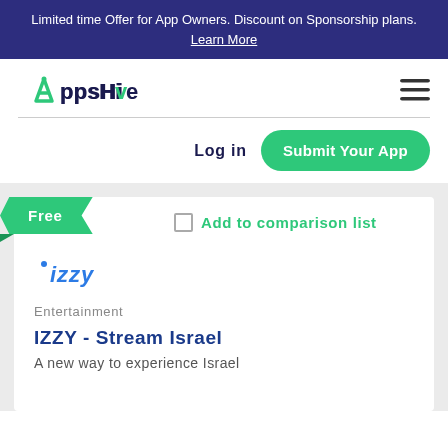Limited time Offer for App Owners. Discount on Sponsorship plans. Learn More
[Figure (logo): AppsHive logo with green A icon and dark blue text]
Log in
Submit Your App
Free
Add to comparison list
[Figure (logo): IZZY app logo in italic blue text]
Entertainment
IZZY - Stream Israel
A new way to experience Israel